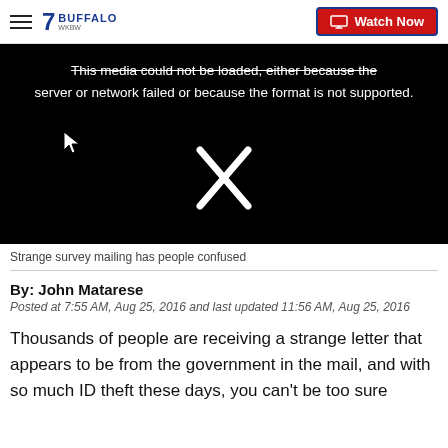7 BUFFALO | Watch Now
[Figure (screenshot): Black video player with error message: 'This media could not be loaded, either because the server or network failed or because the format is not supported.' and a white X icon in the center.]
Strange survey mailing has people confused
By: John Matarese
Posted at 7:55 AM, Aug 25, 2016 and last updated 11:56 AM, Aug 25, 2016
Thousands of people are receiving a strange letter that appears to be from the government in the mail, and with so much ID theft these days, you can't be too sure about this.